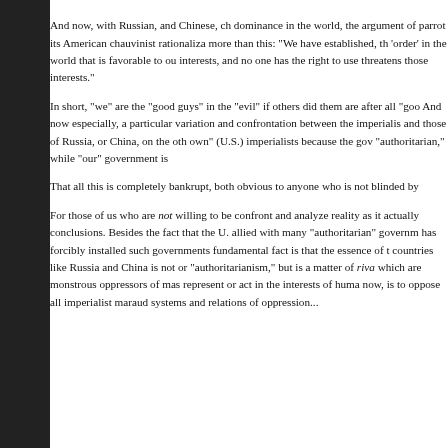And now, with Russian, and Chinese, ch dominance in the world, the argument of parrot its American chauvinist rationaliza more than this: "We have established, th 'order' in the world that is favorable to ou interests, and no one has the right to use threatens those interests."

In short, "we" are the "good guys" in the "evil" if others did them are after all "goo And now especially, a particular variation and confrontation between the imperialis and those of Russia, or China, on the oth own" (U.S.) imperialists because the gov "authoritarian," while "our" government is

That all this is completely bankrupt, both obvious to anyone who is not blinded by

For those of us who are not willing to be confront and analyze reality as it actually conclusions. Besides the fact that the U. allied with many "authoritarian" governm has forcibly installed such governments fundamental fact is that the essence of t countries like Russia and China is not or "authoritarianism," but is a matter of riva which are monstrous oppressors of mas represent or act in the interests of huma now, is to oppose all imperialist maraud systems and relations of oppression...